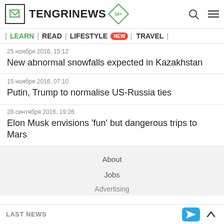TENGRINEWS 18+
| LEARN | READ | LIFESTYLE NEW | TRAVEL |
25 ноября 2016, 15:12
New abnormal snowfalls expected in Kazakhstan
15 ноября 2016, 07:10
Putin, Trump to normalise US-Russia ties
28 сентября 2016, 19:26
Elon Musk envisions 'fun' but dangerous trips to Mars
About
Jobs
Advertising
LAST NEWS